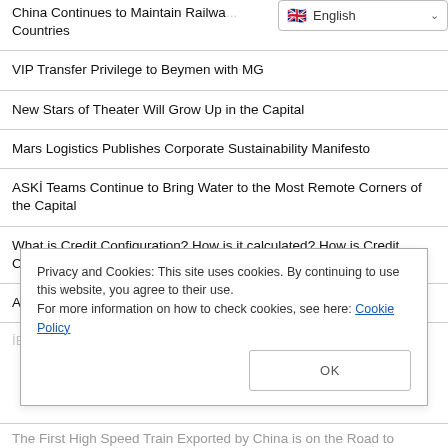China Continues to Maintain Railway Countries
[Figure (screenshot): English language selector dropdown in top right corner]
VIP Transfer Privilege to Beymen with MG
New Stars of Theater Will Grow Up in the Capital
Mars Logistics Publishes Corporate Sustainability Manifesto
ASKİ Teams Continue to Bring Water to the Most Remote Corners of the Capital
What is Credit Configuration? How is it calculated? How is Credit Configuration Made?
AKINCI B TİHA's Full Load Test Flight!
İBB İSPER to Recruit Staff
Privacy and Cookies: This site uses cookies. By continuing to use this website, you agree to their use. For more information on how to check cookies, see here: Cookie Policy
The First High Speed Train Exported by China is on the Road to